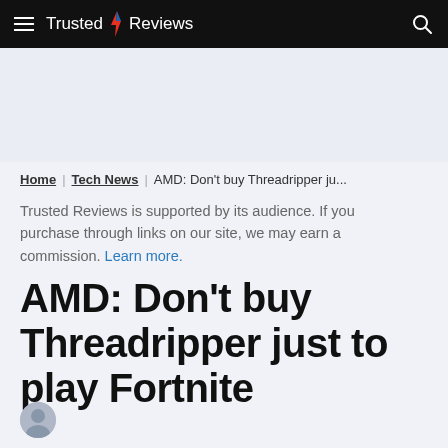Trusted Reviews
Trusted Reviews is supported by its audience. If you purchase through links on our site, we may earn a commission. Learn more.
AMD: Don’t buy Threadripper just to play Fortnite